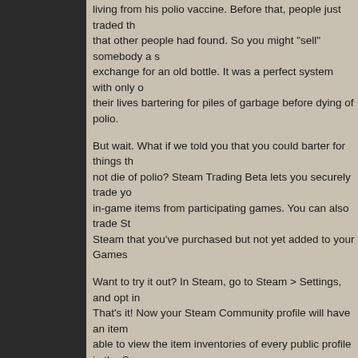living from his polio vaccine. Before that, people just traded things that other people had found. So you might "sell" somebody a s exchange for an old bottle. It was a perfect system with only o their lives bartering for piles of garbage before dying of polio.
But wait. What if we told you that you could barter for things th not die of polio? Steam Trading Beta lets you securely trade yo in-game items from participating games. You can also trade St Steam that you've purchased but not yet added to your Games
Want to try it out? In Steam, go to Steam > Settings, and opt in That's it! Now your Steam Community profile will have an item able to view the item inventories of every public profile in the S
Now that you've opted into the Trading Beta, you can invite pe Group Chat, and trade with anybody in your Friends List who's click on their name and select "Invite to Trade" from the dropdo friend accepts your offer to trade, a trade window will open up. the trade window, a step-by-step walkthrough will guide you th
That's it! Opt in and get trading, or surf over to the Trading Beta bolts. And remember: Trading is still in beta, so don't forget to g on the Forums.